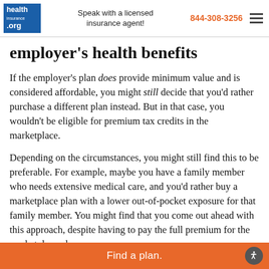Speak with a licensed insurance agent! 844-308-3256
employer's health benefits
If the employer's plan does provide minimum value and is considered affordable, you might still decide that you'd rather purchase a different plan instead. But in that case, you wouldn't be eligible for premium tax credits in the marketplace.
Depending on the circumstances, you might still find this to be preferable. For example, maybe you have a family member who needs extensive medical care, and you'd rather buy a marketplace plan with a lower out-of-pocket exposure for that family member. You might find that you come out ahead with this approach, despite having to pay the full premium for the marketplace plan.
Find a plan.